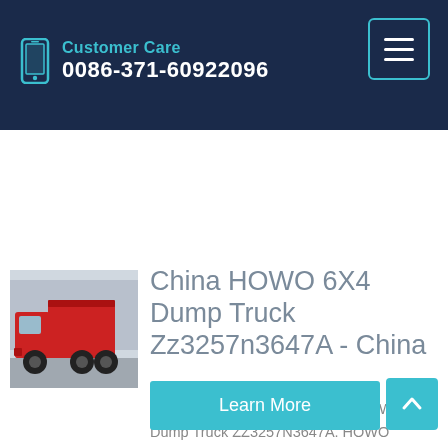Customer Care
0086-371-60922096
[Figure (photo): Red HOWO 6X4 dump truck parked outdoors in front of a building]
China HOWO 6X4 Dump Truck Zz3257n3647A - China ...
87019090. Product Description. HOWO 6X4 Dump Truck ZZ3257N3647A. HOWO sinotruck dump truck 6*4 tipper truck 266HP. Vehicle Weight 12020kg. Engine: WD615.62 Euro III. Dimension: 7545*2496*3170mm. SINOTRUK HW76 Lengthen cab, single ...
Learn More